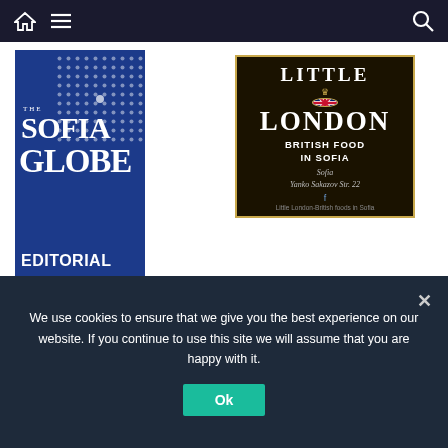Navigation bar with home, menu, and search icons
[Figure (logo): The Sofia Globe editorial charter book cover — dark blue background, white dot pattern, text: THE SOFIA GLOBE, EDITORIAL CHARTER]
[Figure (logo): Little London British Food in Sofia advertisement — dark background with gold border, text: LITTLE LONDON, BRITISH FOOD IN SOFIA, Sofia, Yanko Sakazov Str. 22, Little London-British foods in Sofia]
We use cookies to ensure that we give you the best experience on our website. If you continue to use this site we will assume that you are happy with it.